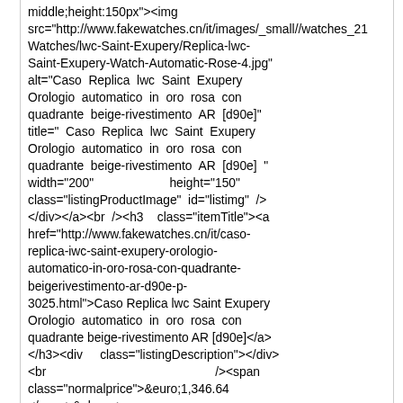middle;height:150px"><img src="http://www.fakewatches.cn/it/images/_small//watches_21 Watches/lwc-Saint-Exupery/Replica-lwc-Saint-Exupery-Watch-Automatic-Rose-4.jpg" alt="Caso Replica lwc Saint Exupery Orologio automatico in oro rosa con quadrante beige-rivestimento AR [d90e]" title=" Caso Replica lwc Saint Exupery Orologio automatico in oro rosa con quadrante beige-rivestimento AR [d90e] " width="200" height="150" class="listingProductImage" id="listimg" /></div></a><br /><h3 class="itemTitle"><a href="http://www.fakewatches.cn/it/caso-replica-iwc-saint-exupery-orologio-automatico-in-oro-rosa-con-quadrante-beigerivestimento-ar-d90e-p-3025.html">Caso Replica lwc Saint Exupery Orologio automatico in oro rosa con quadrante beige-rivestimento AR [d90e]</a></h3><div class="listingDescription"></div><br /><span class="normalprice">&euro;1,346.64 </span>&nbsp;<span class="productSpecialPrice">&euro;189.72</span><span class="productPriceDiscount"><br />Risparmi:&nbsp;86% sconto</span><br /><br /><a href="http://www.fakewatches.cn/it/orologi-iwc-c-51.html?